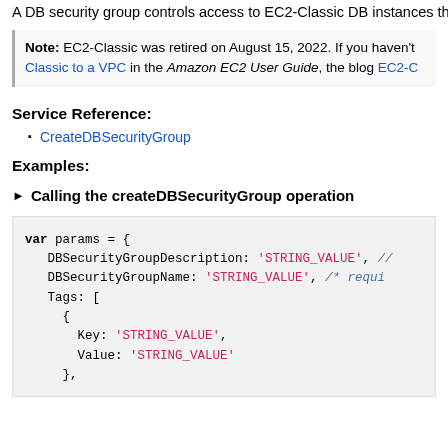A DB security group controls access to EC2-Classic DB instances th
Note: EC2-Classic was retired on August 15, 2022. If you haven't... Classic to a VPC in the Amazon EC2 User Guide, the blog EC2-C...
Service Reference:
CreateDBSecurityGroup
Examples:
▶ Calling the createDBSecurityGroup operation
var params = {
   DBSecurityGroupDescription: 'STRING_VALUE', //
   DBSecurityGroupName: 'STRING_VALUE', /* requi
   Tags: [
     {
       Key: 'STRING_VALUE',
       Value: 'STRING_VALUE'
     },
   ],